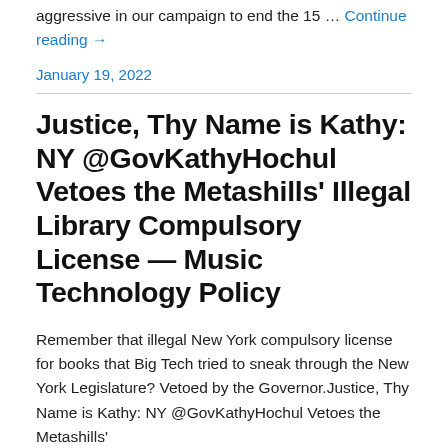aggressive in our campaign to end the 15 … Continue reading →
January 19, 2022
Justice, Thy Name is Kathy: NY @GovKathyHochul Vetoes the Metashills' Illegal Library Compulsory License — Music Technology Policy
Remember that illegal New York compulsory license for books that Big Tech tried to sneak through the New York Legislature? Vetoed by the Governor.Justice, Thy Name is Kathy: NY @GovKathyHochul Vetoes the Metashills'